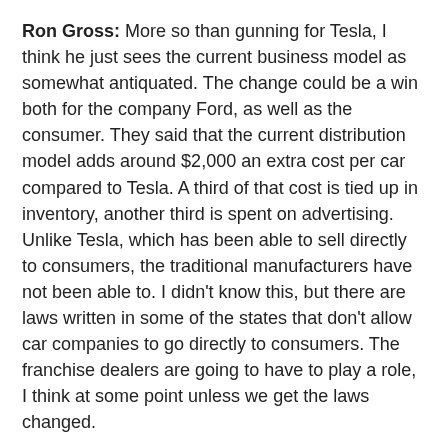Ron Gross: More so than gunning for Tesla, I think he just sees the current business model as somewhat antiquated. The change could be a win both for the company Ford, as well as the consumer. They said that the current distribution model adds around $2,000 an extra cost per car compared to Tesla. A third of that cost is tied up in inventory, another third is spent on advertising. Unlike Tesla, which has been able to sell directly to consumers, the traditional manufacturers have not been able to. I didn't know this, but there are laws written in some of the states that don't allow car companies to go directly to consumers. The franchise dealers are going to have to play a role, I think at some point unless we get the laws changed.
Chris Hill: Ron Gross, Jason Moser guys, we'll see you later in the show. But up next, author Nick Maggiulli has three important words of advice for investors, so stay right here. You're listening to Motley Fool M...